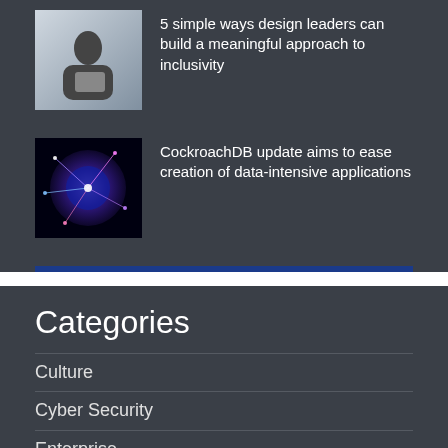[Figure (photo): Person with tablet device, light background]
5 simple ways design leaders can build a meaningful approach to inclusivity
[Figure (photo): Abstract data network visualization, blue and purple lights]
CockroachDB update aims to ease creation of data-intensive applications
Categories
Culture
Cyber Security
Enterprise
Entertainment
Gadgets